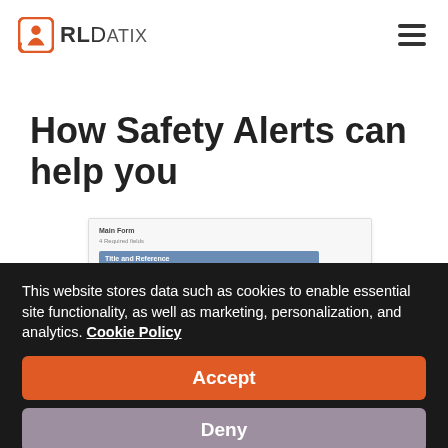RLDatix
How Safety Alerts can help you
[Figure (screenshot): Partial screenshot of a form interface with 'Main Form', 'Required fields', and a blue header bar labeled 'Title and Reference']
This website stores data such as cookies to enable essential site functionality, as well as marketing, personalization, and analytics. Cookie Policy
Accept
Deny